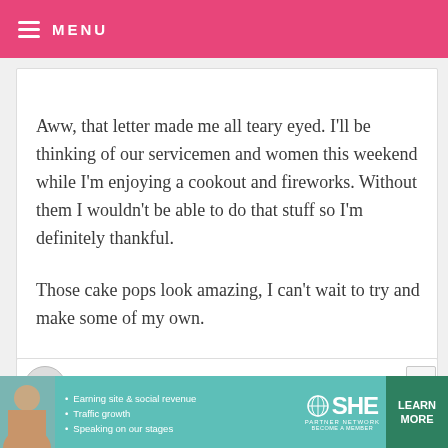MENU
REPLY
Aww, that letter made me all teary eyed. I'll be thinking of our servicemen and women this weekend while I'm enjoying a cookout and fireworks. Without them I wouldn't be able to do that stuff so I'm definitely thankful.

Those cake pops look amazing, I can't wait to try and make some of my own.
[Figure (screenshot): Partially visible second comment card with X close button]
[Figure (screenshot): Advertisement banner for SHE Partner Network — teal background with photo, bullet points about earning site & social revenue, traffic growth, speaking on our stages, SHE logo, and LEARN MORE button]